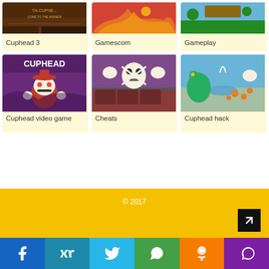[Figure (screenshot): Cuphead 3 game thumbnail - dark tavern scene]
Cuphead 3
[Figure (screenshot): Gamescom game thumbnail - fire scene]
Gamescom
[Figure (screenshot): Gameplay thumbnail - outdoor scene]
Gameplay
[Figure (screenshot): Cuphead video game logo with character]
Cuphead video game
[Figure (screenshot): Cheats thumbnail - skull boss fight on train]
Cheats
[Figure (screenshot): Cuphead hack thumbnail - cartoon dragon scene]
Cuphead hack
© 2017
[Figure (infographic): Social media buttons: Facebook, VK, Twitter, WhatsApp, Odnoklassniki, Viber]